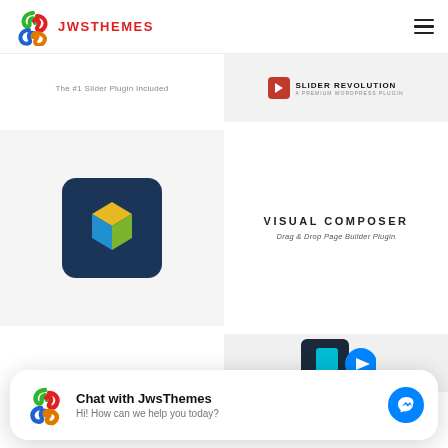JWSTHEMES
[Figure (logo): JwsThemes colorful chain-link logo with red text JWSTHEMES]
The #1 Slider Plugin Included
[Figure (logo): Slider Revolution - A Premium WordPress Plugin logo]
[Figure (logo): Visual Composer dark blue cube-letter logo on dark navy square]
VISUAL COMPOSER
Drag & Drop Page Builder Plugin
PSD DESIGN
[Figure (screenshot): Partial bottom-right panel with dark background and cyan/blue design elements]
[Figure (infographic): Chat widget: JwsThemes logo, Chat with JwsThemes, Hi! How can we help you today?, Facebook Messenger button]